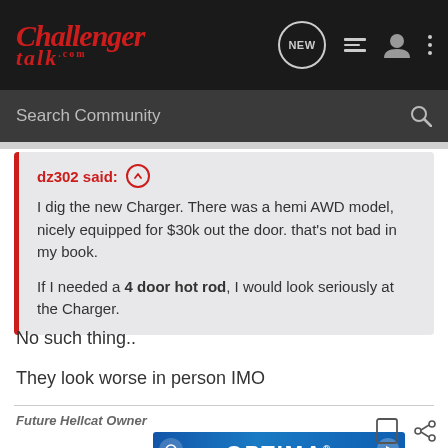Challenger Talk .com — navigation header with NEW, list, user, and menu icons
Search Community
dz302 said: ↑ I dig the new Charger. There was a hemi AWD model, nicely equipped for $30k out the door. that's not bad in my book.

If I needed a 4 door hot rod, I would look seriously at the Charger.
No such thing..
They look worse in person IMO
Future Hellcat Owner
[Figure (screenshot): OPTIMA BATTERIES advertisement banner with blue gradient background]